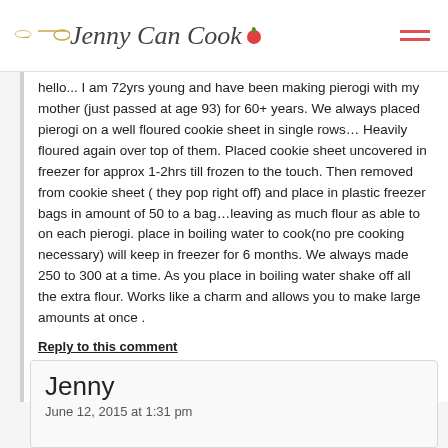Jenny Can Cook
hello... I am 72yrs young and have been making pierogi with my mother (just passed at age 93) for 60+ years. We always placed pierogi on a well floured cookie sheet in single rows… Heavily floured again over top of them. Placed cookie sheet uncovered in freezer for approx 1-2hrs till frozen to the touch. Then removed from cookie sheet ( they pop right off) and place in plastic freezer bags in amount of 50 to a bag…leaving as much flour as able to on each pierogi. place in boiling water to cook(no pre cooking necessary) will keep in freezer for 6 months. We always made 250 to 300 at a time. As you place in boiling water shake off all the extra flour. Works like a charm and allows you to make large amounts at once .
Reply to this comment
Jenny
June 12, 2015 at 1:31 pm